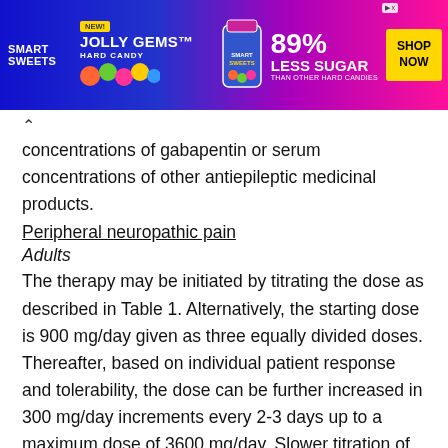[Figure (photo): Smart Sweets Jolly Gems Hard Candy advertisement banner. Blue and pink gradient background with candy images. '89% LESS SUGAR THAN OTHER HARD CANDIES' text. Yellow 'SHOP NOW' button. 'NEW!' badge. AdChoices icon.]
concentrations of gabapentin or serum concentrations of other antiepileptic medicinal products.
Peripheral neuropathic pain
Adults
The therapy may be initiated by titrating the dose as described in Table 1. Alternatively, the starting dose is 900 mg/day given as three equally divided doses. Thereafter, based on individual patient response and tolerability, the dose can be further increased in 300 mg/day increments every 2-3 days up to a maximum dose of 3600 mg/day. Slower titration of gabapentin dosage may be